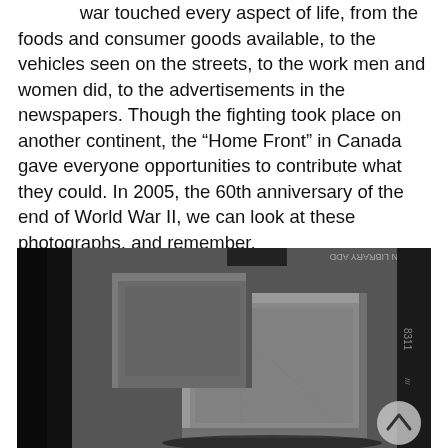war touched every aspect of life, from the foods and consumer goods available, to the vehicles seen on the streets, to the work men and women did, to the advertisements in the newspapers. Though the fighting took place on another continent, the “Home Front” in Canada gave everyone opportunities to contribute what they could. In 2005, the 60th anniversary of the end of World War II, we can look at these photographs, and remember.
[Figure (photo): Black and white photograph showing wooden crates or boxes in what appears to be a storage or warehouse setting. Upside-down text visible at top of image. A circular scroll-up button overlays the bottom right corner.]